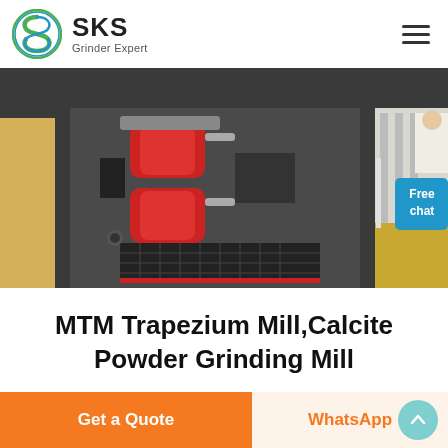[Figure (logo): SKS Grinder Expert logo — circular green/blue icon with stylized S, and bold SKS text with 'Grinder Expert' subtitle]
[Figure (photo): Industrial grinding mill machine — close-up photo showing red cylindrical components, black metal frame, wiring, and mechanical parts of a trapezium grinding mill]
MTM Trapezium Mill,Calcite Powder Grinding Mill
Get a Quote
WhatsApp